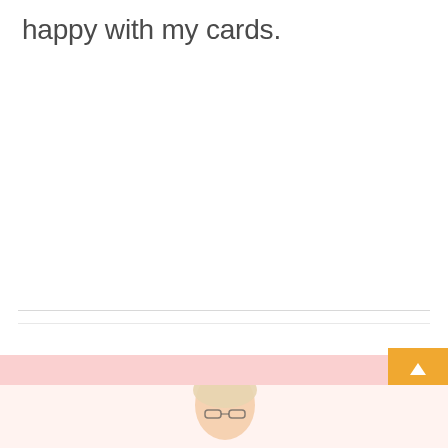happy with my cards.
[Figure (illustration): Partial view of a person with glasses and light hair at the bottom of the page, pink bar and orange scroll-to-top button visible]